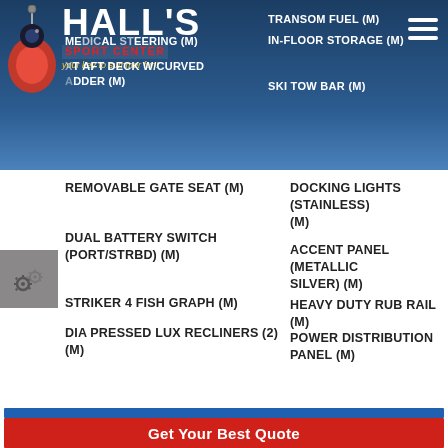HALL'S SPORT CENTER - your key to summer fun! Navigation bar with: TRANSOM FUEL (M), IN-FLOOR STORAGE (M), MEDICAL STEERING (M), SKI TOW BAR (M), EXT AFT DECK W/CURVED LADDER (M), DOCKING LIGHTS (STAINLESS) (M)
REMOVABLE GATE SEAT (M)
DOCKING LIGHTS (STAINLESS) (M)
DUAL BATTERY SWITCH (PORT/STRBD) (M)
ACCENT PANEL (METALLIC SILVER) (M)
STRIKER 4 FISH GRAPH (M)
HEAVY DUTY RUB RAIL (M)
DIA PRESSED LUX RECLINERS (2) (M)
POWER DISTRIBUTION PANEL (M)
Get Your Best Quote
Call Our Muskegon Office Today!
231-733-2433